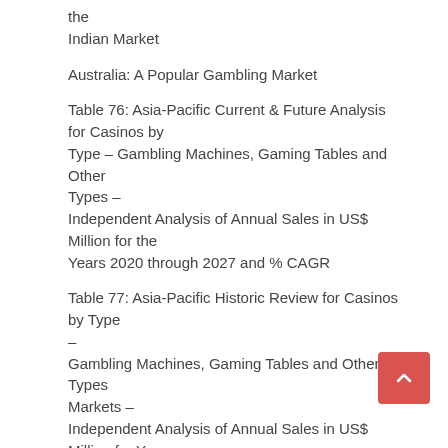the
Indian Market
Australia: A Popular Gambling Market
Table 76: Asia-Pacific Current & Future Analysis for Casinos by Type – Gambling Machines, Gaming Tables and Other Types – Independent Analysis of Annual Sales in US$ Million for the Years 2020 through 2027 and % CAGR
Table 77: Asia-Pacific Historic Review for Casinos by Type – Gambling Machines, Gaming Tables and Other Types Markets – Independent Analysis of Annual Sales in US$ Million for Years 2012 through 2019 and % CAGR
Table 78: Asia-Pacific 15-Year Perspective for Casinos by Type – Percentage Breakdown of Value Sales for Gambling